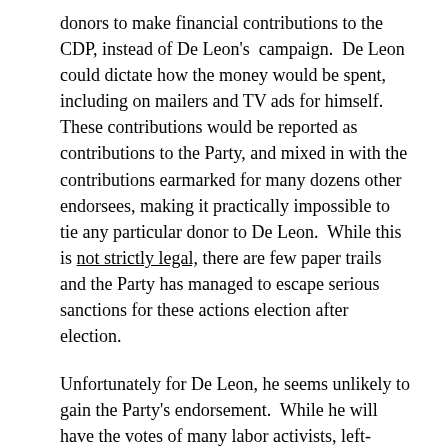donors to make financial contributions to the CDP, instead of De Leon's campaign. De Leon could dictate how the money would be spent, including on mailers and TV ads for himself. These contributions would be reported as contributions to the Party, and mixed in with the contributions earmarked for many dozens other endorsees, making it practically impossible to tie any particular donor to De Leon. While this is not strictly legal, there are few paper trails and the Party has managed to escape serious sanctions for these actions election after election.
Unfortunately for De Leon, he seems unlikely to gain the Party's endorsement. While he will have the votes of many labor activists, left-leaning party insiders and some Berniecrats eager to see anyone but Feinstein in that Senate seat, he simply does not have enough internal support within the Party to get the 60% of the delegate